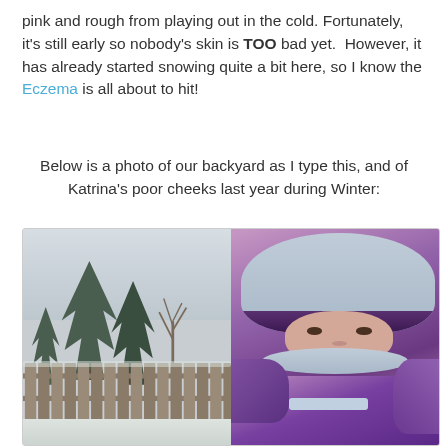pink and rough from playing out in the cold. Fortunately, it's still early so nobody's skin is TOO bad yet.  However, it has already started snowing quite a bit here, so I know the Eczema is all about to hit!
Below is a photo of our backyard as I type this, and of Katrina's poor cheeks last year during Winter:
[Figure (photo): Two side-by-side photos: left shows a snowy backyard with evergreen trees and a wooden fence in winter; right shows a young child bundled in a purple and pink winter jacket and light blue/grey knit hat, looking at the camera.]